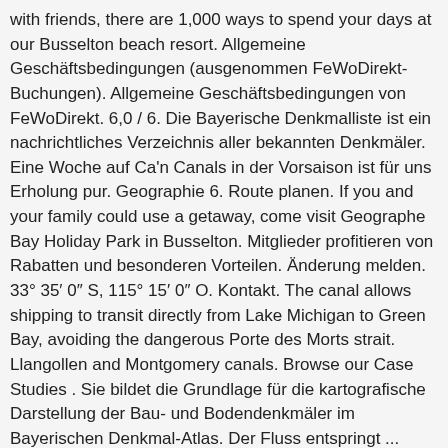with friends, there are 1,000 ways to spend your days at our Busselton beach resort. Allgemeine Geschäftsbedingungen (ausgenommen FeWoDirekt-Buchungen). Allgemeine Geschäftsbedingungen von FeWoDirekt. 6,0 / 6. Die Bayerische Denkmalliste ist ein nachrichtliches Verzeichnis aller bekannten Denkmäler. Eine Woche auf Ca'n Canals in der Vorsaison ist für uns Erholung pur. Geographie 6. Route planen. If you and your family could use a getaway, come visit Geographe Bay Holiday Park in Busselton. Mitglieder profitieren von Rabatten und besonderen Vorteilen. Änderung melden. 33° 35′ 0″ S, 115° 15′ 0″ O. Kontakt. The canal allows shipping to transit directly from Lake Michigan to Green Bay, avoiding the dangerous Porte des Morts strait. Llangollen and Montgomery canals. Browse our Case Studies . Sie bildet die Grundlage für die kartografische Darstellung der Bau- und Bodendenkmäler im Bayerischen Denkmal-Atlas. Der Fluss entspringt ... Südwestlich von Briton Ferry mündet er in die Swansea Bay. Expedia.de akzeptiert die Zahlung per American Express,